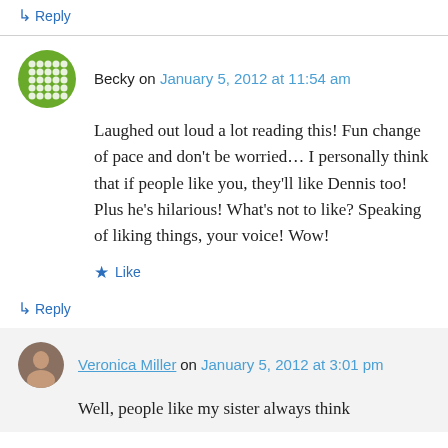↳ Reply
Becky on January 5, 2012 at 11:54 am
Laughed out loud a lot reading this! Fun change of pace and don't be worried… I personally think that if people like you, they'll like Dennis too! Plus he's hilarious! What's not to like? Speaking of liking things, your voice! Wow!
★ Like
↳ Reply
Veronica Miller on January 5, 2012 at 3:01 pm
Well, people like my sister always think